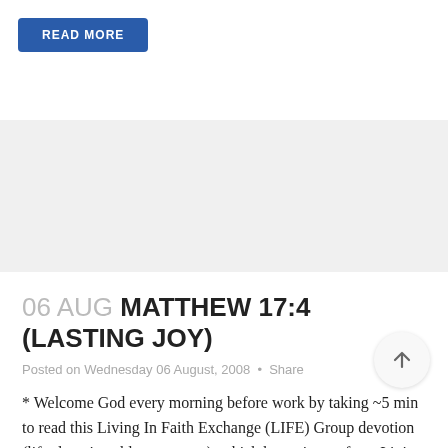[Figure (other): READ MORE button in dark blue]
06 AUG MATTHEW 17:4 (LASTING JOY)
Posted on Wednesday 06 August, 2008 · Share
* Welcome God every morning before work by taking ~5 min to read this Living In Faith Exchange (LIFE) Group devotion (life-devotions.blogspot.com), which has snippets from Living Faith (livingfaith.com). All whatsoever you do in word or in work, do all in the name of the...